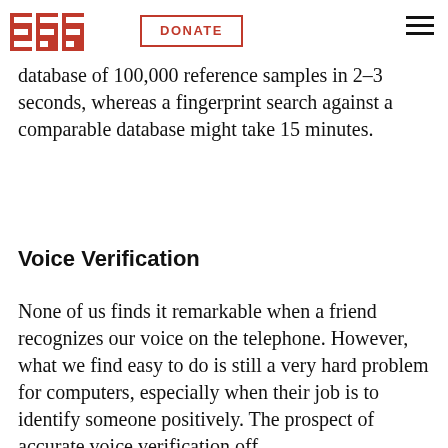EFF | DONATE
comparisons. The computer can also run it can match against a database of 100,000 reference samples in 2–3 seconds, whereas a fingerprint search against a comparable database might take 15 minutes.
Voice Verification
None of us finds it remarkable when a friend recognizes our voice on the telephone. However, what we find easy to do is still a very hard problem for computers, especially when their job is to identify someone positively. The prospect of accurate voice verification off...